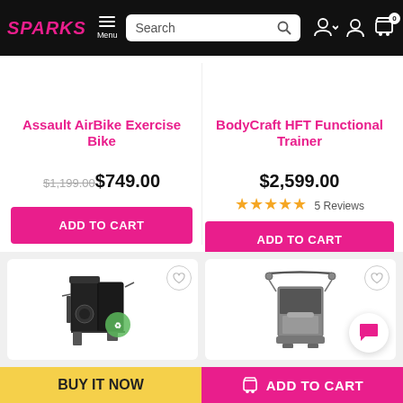SPARKS — Menu | Search | User | Cart (0)
Assault AirBike Exercise Bike
$1,199.00 $749.00
ADD TO CART
BodyCraft HFT Functional Trainer
$2,599.00
★★★★★ 5 Reviews
ADD TO CART
[Figure (photo): Home gym multi-station exercise machine, black, with cables and pulleys, green logo badge]
[Figure (photo): Home gym functional trainer machine, silver and black, with cable pulleys and bench]
BUY IT NOW
ADD TO CART